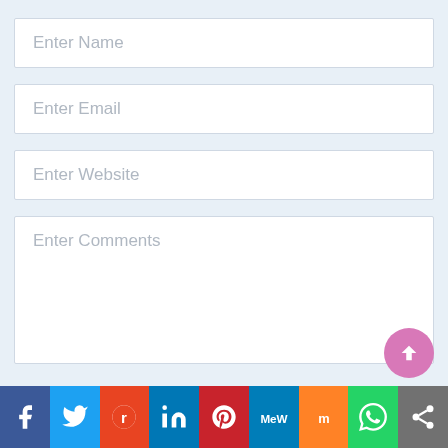Enter Name
Enter Email
Enter Website
Enter Comments
[Figure (infographic): Social sharing bar with icons: Facebook, Twitter, Reddit, LinkedIn, Pinterest, MeWe, Mix, WhatsApp, Share]